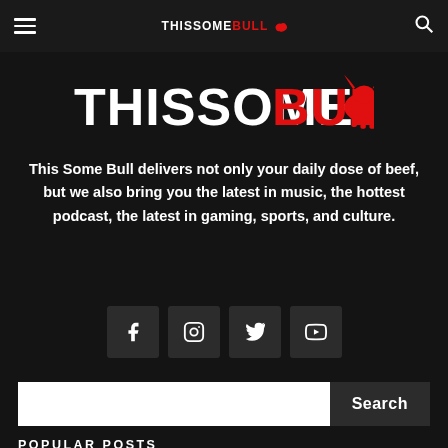THISSOMEBULL
[Figure (logo): THISSOMEBULL logo with white text THISSOME and red text BULL with red bull icon]
This Some Bull delivers not only your daily dose of beef, but we also bring you the latest in music, the hottest podcast, the latest in gaming, sports, and culture.
[Figure (infographic): Social media icons row: Facebook, Instagram, Twitter, YouTube]
Search
POPULAR POSTS